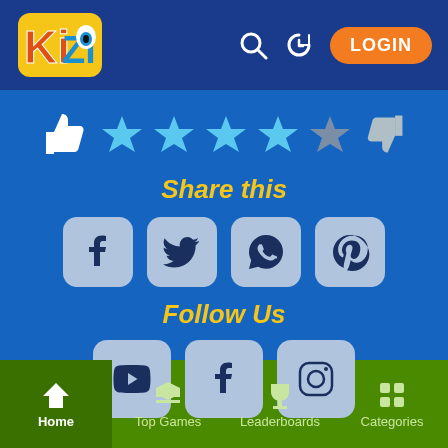Kizi - LOGIN
[Figure (infographic): Rating row with thumbs up, 4 filled blue stars and 1 gray star, thumbs down]
Share this
[Figure (infographic): Share icons: Facebook, Twitter, WhatsApp, Pinterest]
Follow Us
[Figure (infographic): Follow icons: YouTube, Facebook, Instagram]
Home | Top Games | Leaderboards | Categories